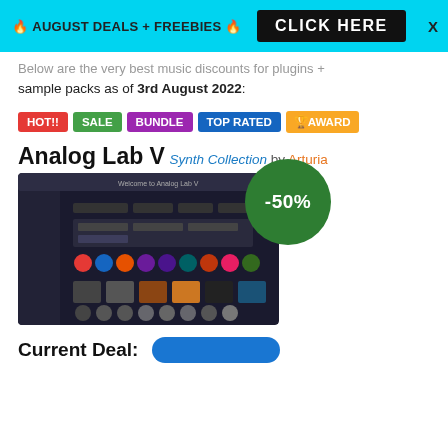🔥 AUGUST DEALS + FREEBIES 🔥   CLICK HERE   X
Below are the very best music discounts for plugins + sample packs as of 3rd August 2022:
HOT!!  SALE  BUNDLE  TOP RATED  🏆AWARD
Analog Lab V
Synth Collection by Arturia
[Figure (screenshot): Screenshot of Analog Lab V software interface showing synth presets with a dark UI, colorful instrument icons, and a -50% discount badge overlay]
Current Deal: